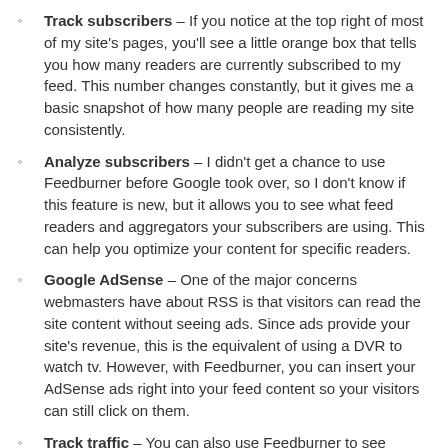Track subscribers – If you notice at the top right of most of my site's pages, you'll see a little orange box that tells you how many readers are currently subscribed to my feed. This number changes constantly, but it gives me a basic snapshot of how many people are reading my site consistently.
Analyze subscribers – I didn't get a chance to use Feedburner before Google took over, so I don't know if this feature is new, but it allows you to see what feed readers and aggregators your subscribers are using. This can help you optimize your content for specific readers.
Google AdSense – One of the major concerns webmasters have about RSS is that visitors can read the site content without seeing ads. Since ads provide your site's revenue, this is the equivalent of using a DVR to watch tv. However, with Feedburner, you can insert your AdSense ads right into your feed content so your visitors can still click on them.
Track traffic – You can also use Feedburner to see what's being clicked on. Think of this exactly like stats for your website and again, this can help you optimize your site for your RSS readers.
Optimize and Socialize – Using the optimizing tools allows you to better optimize your feed content to increase browser compatibility and make it more user-friendly. To help promote